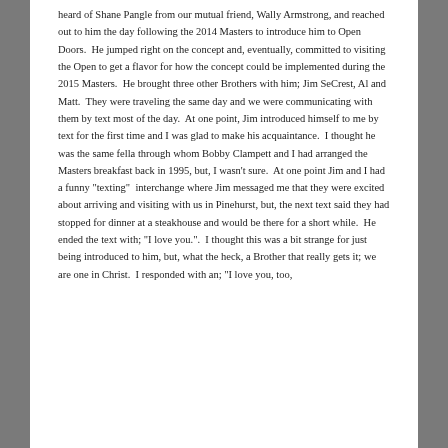heard of Shane Pangle from our mutual friend, Wally Armstrong, and reached out to him the day following the 2014 Masters to introduce him to Open Doors.  He jumped right on the concept and, eventually, committed to visiting the Open to get a flavor for how the concept could be implemented during the 2015 Masters.  He brought three other Brothers with him; Jim SeCrest, Al and Matt.  They were traveling the same day and we were communicating with them by text most of the day.  At one point, Jim introduced himself to me by text for the first time and I was glad to make his acquaintance.  I thought he was the same fella through whom Bobby Clampett and I had arranged the Masters breakfast back in 1995, but, I wasn't sure.  At one point Jim and I had a funny "texting"  interchange where Jim messaged me that they were excited about arriving and visiting with us in Pinehurst, but, the next text said they had stopped for dinner at a steakhouse and would be there for a short while.  He ended the text with; "I love you.".  I thought this was a bit strange for just being introduced to him, but, what the heck, a Brother that really gets it; we are one in Christ.  I responded with an; "I love you, too,